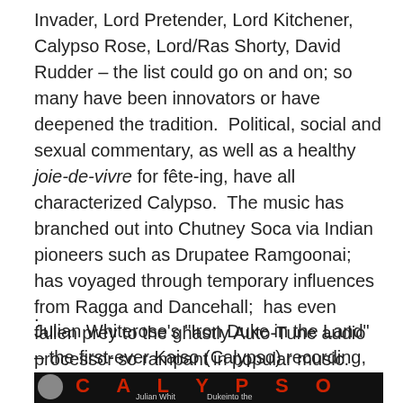Invader, Lord Pretender, Lord Kitchener, Calypso Rose, Lord/Ras Shorty, David Rudder – the list could go on and on; so many have been innovators or have deepened the tradition.  Political, social and sexual commentary, as well as a healthy joie-de-vivre for fête-ing, have all characterized Calypso.  The music has branched out into Chutney Soca via Indian pioneers such as Drupatee Ramgoonai;  has voyaged through temporary influences from Ragga and Dancehall;  has even fallen prey to the ghastly Auto-Tune audio processor so rampant in popular music.  Still, Calypso at its best – and it still can be at its best – can't be beat. (Except maybe by Pan !)
.
Julian Whiterose's "Iron Duke in the Land" – the first-ever Kaiso (Calypso) recording, from 1912:
[Figure (photo): A dark banner image with the word CALYPSO in large red letters across the top, with a small circular portrait photo on the left and text labels below indicating Julian Whiterose and related information.]